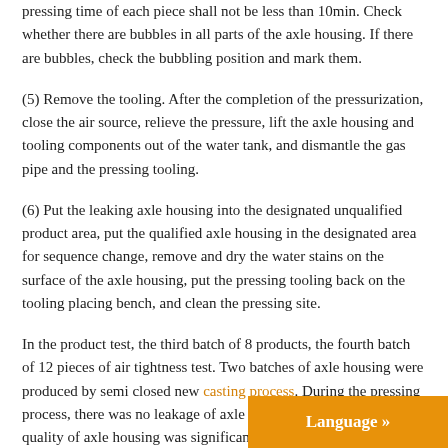pressing time of each piece shall not be less than 10min. Check whether there are bubbles in all parts of the axle housing. If there are bubbles, check the bubbling position and mark them.
(5) Remove the tooling. After the completion of the pressurization, close the air source, relieve the pressure, lift the axle housing and tooling components out of the water tank, and dismantle the gas pipe and the pressing tooling.
(6) Put the leaking axle housing into the designated unqualified product area, put the qualified axle housing in the designated area for sequence change, remove and dry the water stains on the surface of the axle housing, put the pressing tooling back on the tooling placing bench, and clean the pressing site.
In the product test, the third batch of 8 products, the fourth batch of 12 pieces of air tightness test. Two batches of axle housing were produced by semi closed new casting process. During the pressing process, there was no leakage of axle housing, and the casting quality of axle housing was significantly improved. By the end of 2019, more than 6000 axle housing pieces have been produced, 174 unqualified products have been found, an